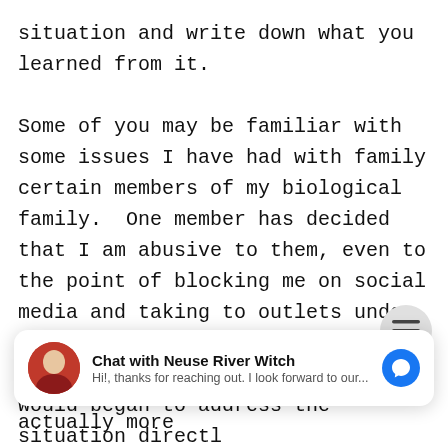situation and write down what you learned from it.

Some of you may be familiar with some issues I have had with family certain members of my biological family.  One member has decided that I am abusive to them, even to the point of blocking me on social media and taking to outlets under assumed names to bash me.  I found such and entry and as I always would began to address the situation directly
[Figure (screenshot): Facebook Messenger chat widget showing 'Chat with Neuse River Witch' with avatar photo, and message 'Hi!, thanks for reaching out. I look forward to our...']
to change anything at all.  I was actually more